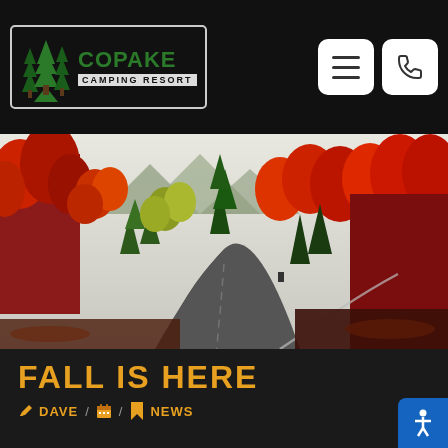Copake Camping Resort
[Figure (photo): Autumn road winding through dense forest with vivid red, orange, and yellow foliage on either side, mountains visible in the background]
FALL IS HERE
DAVE / [calendar icon] / NEWS